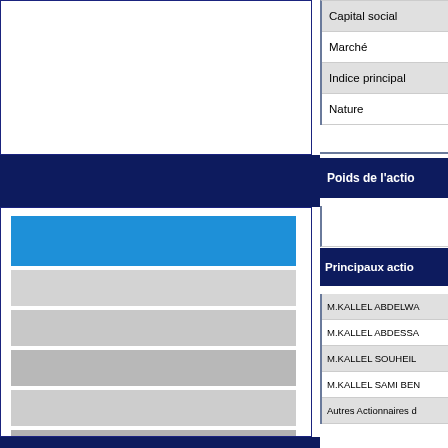[Figure (other): Top-left white box panel with dark navy border, partially visible]
[Figure (bar-chart): Horizontal blue and grey bar chart panel, partially cropped. First bar is bright blue, remaining bars are varying shades of grey.]
[Figure (other): Bottom-left dark navy band and white bordered box, partially visible]
|  |
| --- |
| Capital social |
| Marché |
| Indice principal |
| Nature |
Poids de l'actio
Principaux actio
|  |
| --- |
| M.KALLEL ABDELWA |
| M.KALLEL ABDESSA |
| M.KALLEL SOUHEIL |
| M.KALLEL SAMI BEN |
| Autres Actionnaires d |